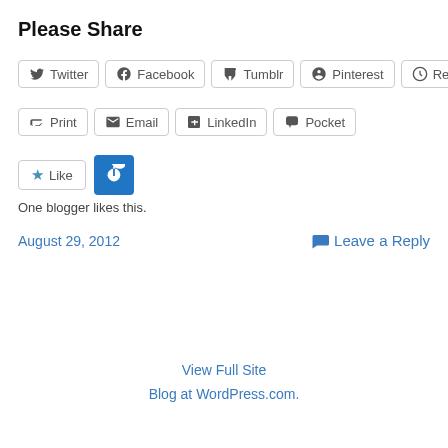Please Share
Twitter  Facebook  Tumblr  Pinterest  Reddit
Print  Email  LinkedIn  Pocket
Like  [power button]
One blogger likes this.
August 29, 2012   Leave a Reply
View Full Site
Blog at WordPress.com.